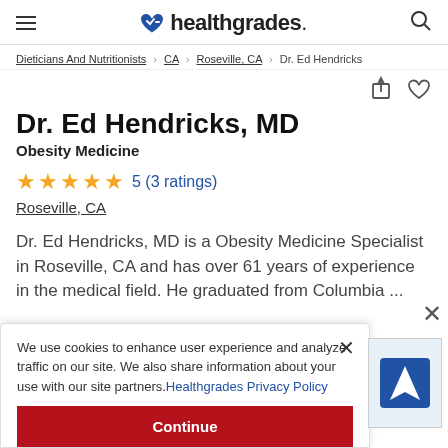healthgrades.
Dieticians And Nutritionists > CA > Roseville, CA > Dr. Ed Hendricks
Dr. Ed Hendricks, MD
Obesity Medicine
5 (3 ratings)
Roseville, CA
Dr. Ed Hendricks, MD is a Obesity Medicine Specialist in Roseville, CA and has over 61 years of experience in the medical field. He graduated from Columbia ...
We use cookies to enhance user experience and analyze traffic on our site. We also share information about your use with our site partners. Healthgrades Privacy Policy